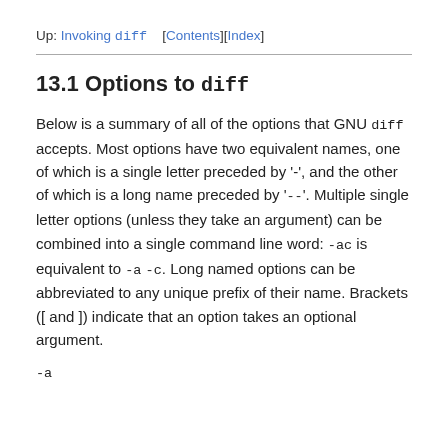Up: Invoking diff   [Contents][Index]
13.1 Options to diff
Below is a summary of all of the options that GNU diff accepts. Most options have two equivalent names, one of which is a single letter preceded by '-', and the other of which is a long name preceded by '--'. Multiple single letter options (unless they take an argument) can be combined into a single command line word: -ac is equivalent to -a -c. Long named options can be abbreviated to any unique prefix of their name. Brackets ([ and ]) indicate that an option takes an optional argument.
-a